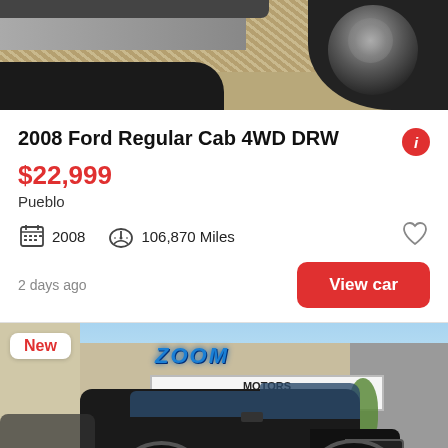[Figure (photo): Partial view of a truck undercarriage with a tire visible on gravel/road surface]
2008 Ford Regular Cab 4WD DRW
$22,999
Pueblo
2008  106,870 Miles
2 days ago
View car
[Figure (photo): Black Ford truck parked in front of Zoom Motors dealership. A 'New' badge is shown in the top left corner and a 'See photo >' button in the bottom right.]